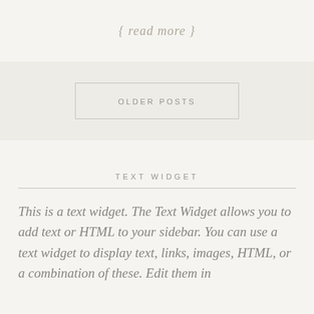{ read more }
OLDER POSTS
TEXT WIDGET
This is a text widget. The Text Widget allows you to add text or HTML to your sidebar. You can use a text widget to display text, links, images, HTML, or a combination of these. Edit them in